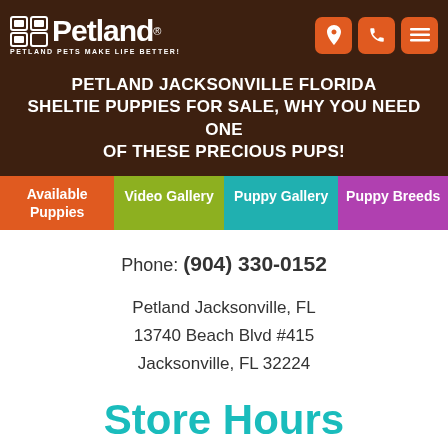Petland — PETLAND PETS MAKE LIFE BETTER!
PETLAND JACKSONVILLE FLORIDA SHELTIE PUPPIES FOR SALE, WHY YOU NEED ONE OF THESE PRECIOUS PUPS!
Available Puppies
Video Gallery
Puppy Gallery
Puppy Breeds
Phone: (904) 330-0152
Petland Jacksonville, FL
13740 Beach Blvd #415
Jacksonville, FL 32224
Store Hours
Monday – Saturday 11AM – 8PM